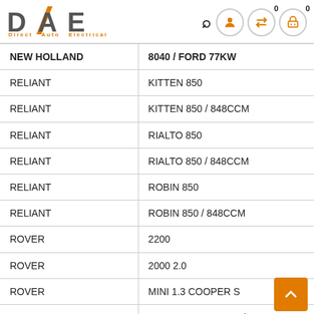DAE Direct Auto Electrical
| Make | Model |
| --- | --- |
| NEW HOLLAND | 8040 / FORD 77KW |
| RELIANT | KITTEN 850 |
| RELIANT | KITTEN 850 / 848CCM |
| RELIANT | RIALTO 850 |
| RELIANT | RIALTO 850 / 848CCM |
| RELIANT | ROBIN 850 |
| RELIANT | ROBIN 850 / 848CCM |
| ROVER | 2200 |
| ROVER | 2000 2.0 |
| ROVER | MINI 1.3 COOPER S |
| ROVER | MINI 1.3 COOPER S / MK1 |